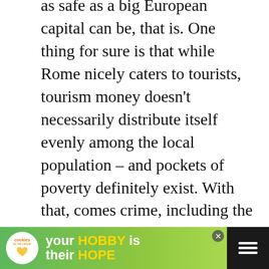as safe as a big European capital can be, that is. One thing for sure is that while Rome nicely caters to tourists, tourism money doesn't necessarily distribute itself evenly among the local population – and pockets of poverty definitely exist. With that, comes crime, including the petty crime that at times also target unaware tourists – think pickpockets, thefts from cars, etc.
Thieves often work in groups: one distracts the victims with random questions or acts, another will go for their valuables. Let's look more specifically into the issues you may in...
[Figure (other): Social sharing widget with heart/like button (teal circle with heart icon), count 273, and share button]
[Figure (other): What's Next panel showing thumbnail image and text 'The 7 Kings Of Rome']
[Figure (other): Advertisement banner: cookies for kid cancer charity with 'your HOBBY is their HOPE' text on green background]